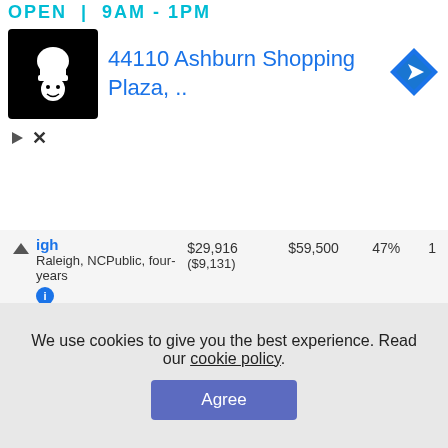[Figure (screenshot): Ad banner showing Ashburn shopping plaza location with chef logo and navigation icon]
| College | Cost | Earnings | Grad% |  |
| --- | --- | --- | --- | --- |
| [igh / Raleigh, NCPublic, four-years | $29,916 ($9,131) | $59,500 | 47% | 1 |
| Centre College / Danville, KY / Private, four-years | $46,000 | $53,800 | 68% | 1 |
| Pepperdine University / Malibu, CAPrivate, four-years | $59,702 | $77,600 | 53% | 1 |
We use cookies to give you the best experience. Read our cookie policy.